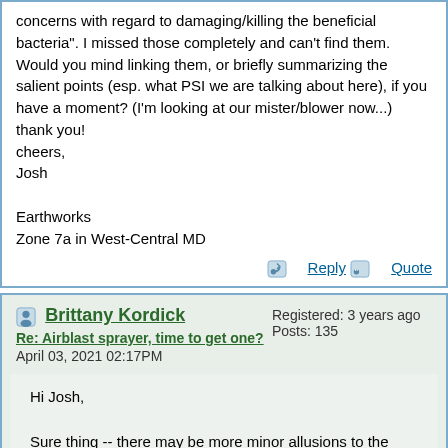concerns with regard to damaging/killing the beneficial bacteria". I missed those completely and can't find them. Would you mind linking them, or briefly summarizing the salient points (esp. what PSI we are talking about here), if you have a moment? (I'm looking at our mister/blower now...)
thank you!
cheers,
Josh

Earthworks
Zone 7a in West-Central MD
Reply | Quote
Brittany Kordick
Re: Airblast sprayer, time to get one?
April 03, 2021 02:17PM
Registered: 3 years ago
Posts: 135
Hi Josh,

Sure thing -- there may be more minor allusions to the effects of sprayer psi on beneficial microbes sporadically throughout the forum, but for the gist, start